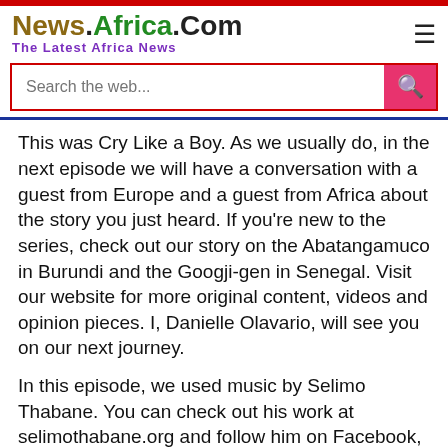News.Africa.Com — The Latest Africa News
This was Cry Like a Boy. As we usually do, in the next episode we will have a conversation with a guest from Europe and a guest from Africa about the story you just heard. If you're new to the series, check out our story on the Abatangamuco in Burundi and the Googji-gen in Senegal. Visit our website for more original content, videos and opinion pieces. I, Danielle Olavario, will see you on our next journey.
In this episode, we used music by Selimo Thabane. You can check out his work at selimothabane.org and follow him on Facebook, Instagram and YouTube as Selimo Thabane.
Share with us your own stories of how you changed and challenged your view on what it means to be a man. Use